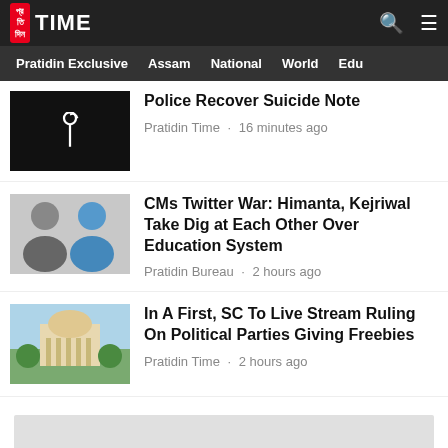Pratidin Time
Pratidin Exclusive · Assam · National · World · Edu
Police Recover Suicide Note
Pratidin Time · 16 minutes ago
CMs Twitter War: Himanta, Kejriwal Take Dig at Each Other Over Education System
Pratidin Bureau · 2 hours ago
In A First, SC To Live Stream Ruling On Political Parties Giving Freebies
Pratidin Time · 2 hours ago